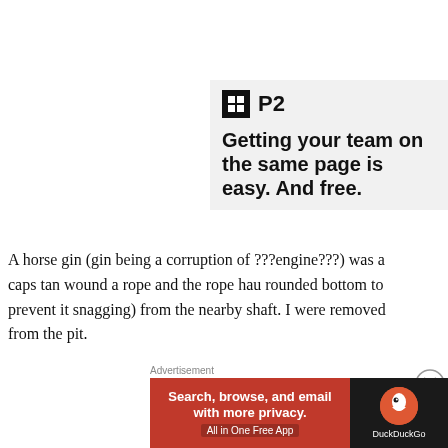[Figure (screenshot): Advertisement panel for P2 with logo and heading 'Getting your team on the same page is easy. And free.']
A horse gin (gin being a corruption of ???engine???) was a capstan wound a rope and the rope haul rounded bottom to prevent it snagging) from the nearby shaft. In were removed from the pit.
[Figure (screenshot): Advertisement banner for DuckDuckGo: 'Search, browse, and email with more privacy. All in One Free App' with DuckDuckGo logo on dark background.]